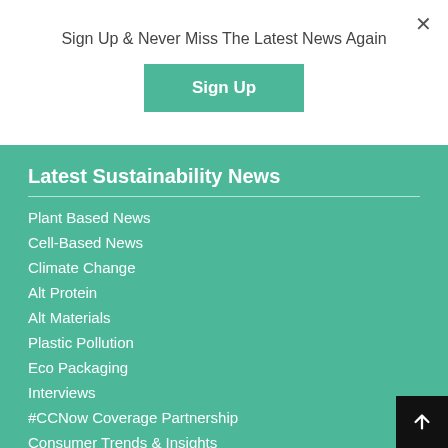×
Sign Up & Never Miss The Latest News Again
Sign Up
Latest Sustainability News
Plant Based News
Cell-Based News
Climate Change
Alt Protein
Alt Materials
Plastic Pollution
Eco Packaging
Interviews
#CCNow Coverage Partnership
Consumer Trends & Insights